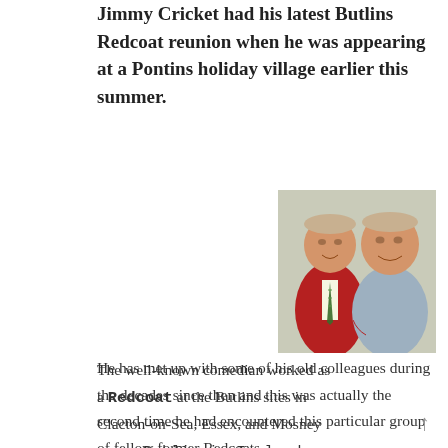Jimmy Cricket had his latest Butlins Redcoat reunion when he was appearing at a Pontins holiday village earlier this summer.
The well-known comedian worked as a Redcoat at the Butlins sites in Clacton-on-Sea, Essex, and Mosney near Dublin in Ireland during the late 1960s before becoming a household name on television.
[Figure (photo): Two elderly men smiling together; one on the left wearing a red jacket with a striped tie, one on the right wearing a light blue shirt.]
He has met up with some of his old colleagues during the decades since then and this was actually the second time he had encountered this particular group of fellow former Redcoats